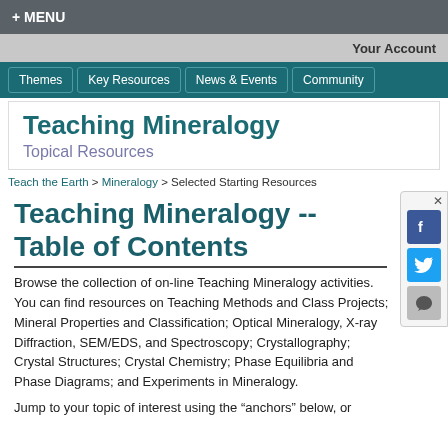+ MENU
Your Account
Themes | Key Resources | News & Events | Community
Teaching Mineralogy
Topical Resources
Teach the Earth > Mineralogy > Selected Starting Resources
Teaching Mineralogy -- Table of Contents
Browse the collection of on-line Teaching Mineralogy activities. You can find resources on Teaching Methods and Class Projects; Mineral Properties and Classification; Optical Mineralogy, X-ray Diffraction, SEM/EDS, and Spectroscopy; Crystallography; Crystal Structures; Crystal Chemistry; Phase Equilibria and Phase Diagrams; and Experiments in Mineralogy.
Jump to your topic of interest using the "anchors" below, or